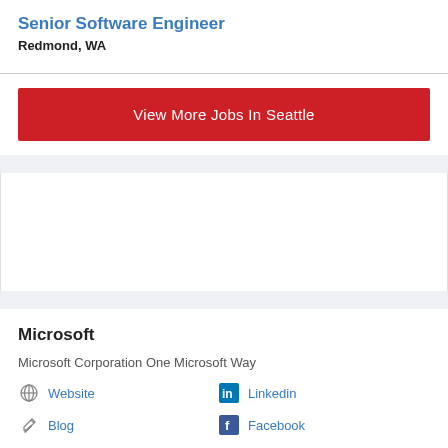Senior Software Engineer
Redmond, WA
View More Jobs In Seattle
[Figure (other): Advertisement placeholder block]
Microsoft
Microsoft Corporation One Microsoft Way
Website
Linkedin
Blog
Facebook